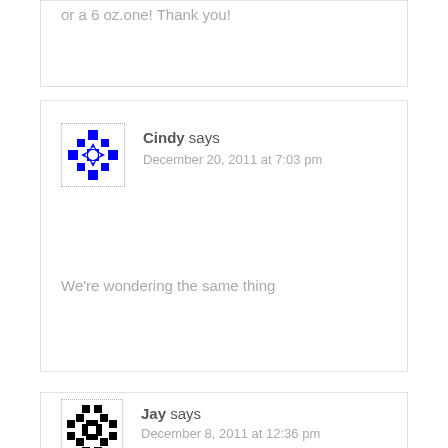or a 6 oz.one! Thank you!
Cindy says
December 20, 2011 at 7:03 pm
We're wondering the same thing
Jay says
December 8, 2011 at 12:36 pm